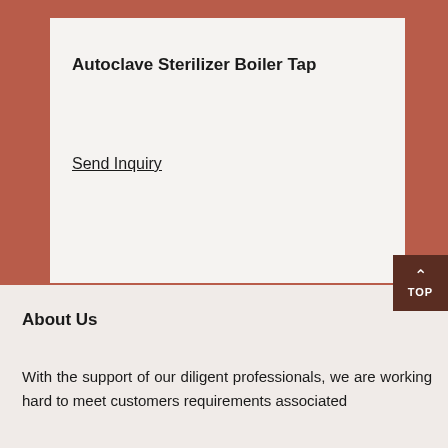Autoclave Sterilizer Boiler Tap
Send Inquiry
About Us
With the support of our diligent professionals, we are working hard to meet customers requirements associated